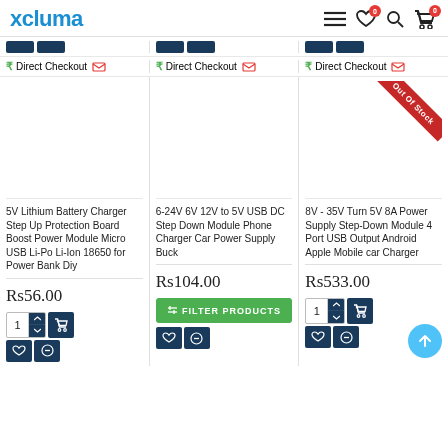xcluma
₹ Direct Checkout   ₹ Direct Checkout   ₹ Direct Checkout
[Figure (screenshot): Out Of Stock ribbon on third product image area]
5V Lithium Battery Charger Step Up Protection Board Boost Power Module Micro USB Li-Po Li-Ion 18650 for Power Bank Diy
Rs56.00
6-24V 6V 12V to 5V USB DC Step Down Module Phone Charger Car Power Supply Buck
Rs104.00
8V - 35V Turn 5V 8A Power Supply Step-Down Module 4 Port USB Output Android Apple Mobile car Charger
Rs533.00
FILTER PRODUCTS